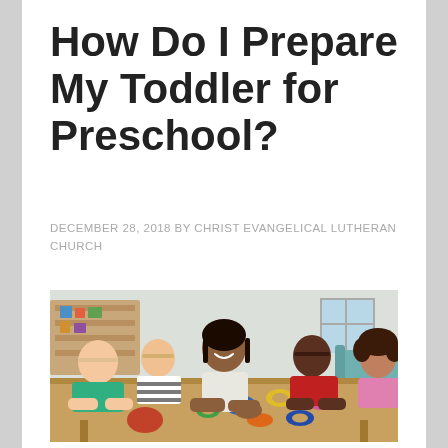How Do I Prepare My Toddler for Preschool?
DECEMBER 28, 2018 BY CHRIST EVANGELICAL LUTHERAN CHURCH
[Figure (photo): A smiling female teacher with dark hair sits at a table with several young children, engaging them in a colorful hands-on activity with plastic shapes and letters on a wooden table. Classroom shelving and decor visible in background.]